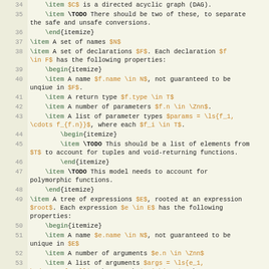[Figure (screenshot): LaTeX source code editor view showing lines 34-55 of a document defining a formal model with itemize environments, mathematical notation, and TODO comments.]